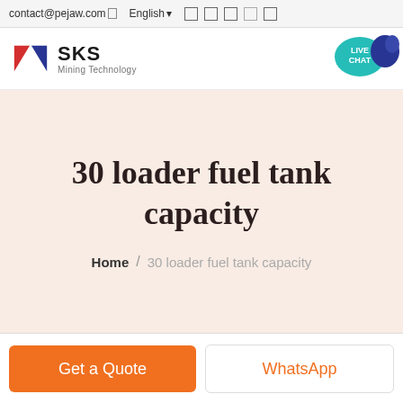contact@pejaw.com  English
[Figure (logo): SKS Mining Technology logo with red and blue arrow icon]
[Figure (illustration): Live Chat bubble icon in teal with speech bubble]
30 loader fuel tank capacity
Home / 30 loader fuel tank capacity
Get a Quote
WhatsApp